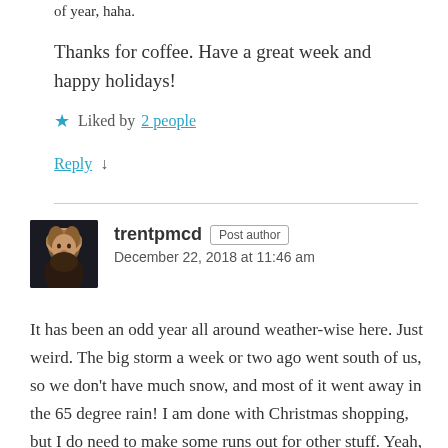of year, haha.
Thanks for coffee. Have a great week and happy holidays!
★ Liked by 2 people
Reply ↓
trentpmcd Post author
December 22, 2018 at 11:46 am
It has been an odd year all around weather-wise here. Just weird. The big storm a week or two ago went south of us, so we don't have much snow, and most of it went away in the 65 degree rain! I am done with Christmas shopping, but I do need to make some runs out for other stuff. Yeah, I hate the crowds, but sometimes you have to face them.